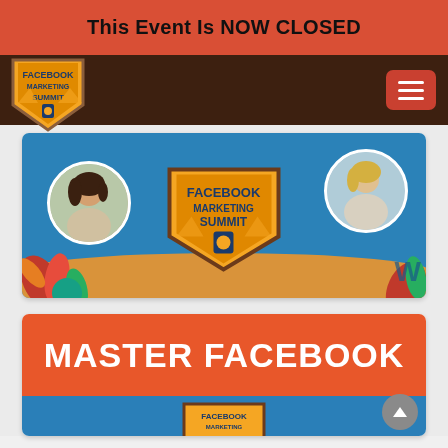This Event Is NOW CLOSED
[Figure (logo): Facebook Marketing Summit logo in nav bar]
[Figure (screenshot): Facebook Marketing Summit promotional banner with two speaker photos, tropical foliage, teal and sand background, and central Facebook Marketing Summit badge logo]
[Figure (screenshot): Master Facebook promotional banner with orange background and white bold text reading MASTER FACEBOOK, with teal section below showing partial Facebook Marketing Summit logo]